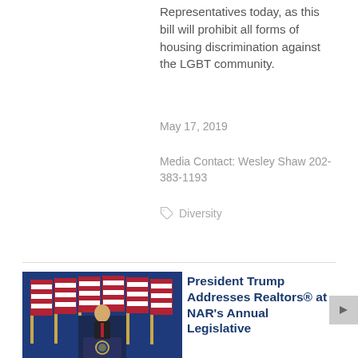Representatives today, as this bill will prohibit all forms of housing discrimination against the LGBT community.
May 17, 2019
Media Contact: Wesley Shaw 202-383-1193
Diversity
[Figure (photo): Photo of President Trump speaking at a podium with American flags in the background]
President Trump Addresses Realtors® at NAR's Annual Legislative